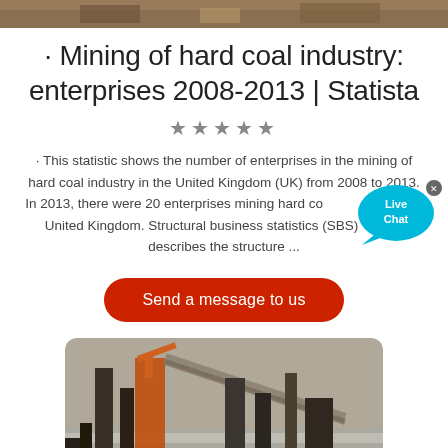[Figure (photo): Top partial photo of coal mining site, cropped at top of page]
· Mining of hard coal industry: enterprises 2008-2013 | Statista
★★★★★
· This statistic shows the number of enterprises in the mining of hard coal industry in the United Kingdom (UK) from 2008 to 2013. In 2013, there were 20 enterprises mining hard coal in the United Kingdom. Structural business statistics (SBS) describes the structure ...
[Figure (other): Live Chat bubble widget with close button]
Send a message to us
[Figure (photo): Photo of coal mining machinery and equipment at a mine site, with orange crane structures and conveyor belts in snowy conditions]